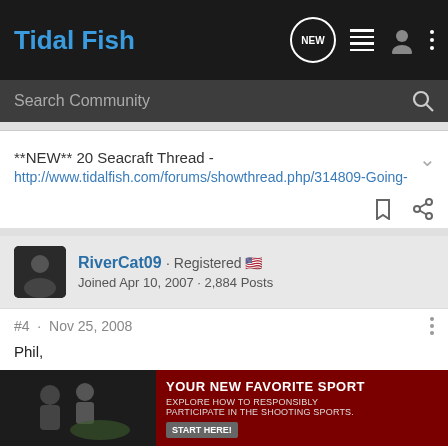Tidal Fish
Search Community
**NEW** 20 Seacraft Thread - http://www.tidalfish.com/forums/showthread.php/314809-Going-
RiverCat09 · Registered
Joined Apr 10, 2007 · 2,884 Posts
#4 · Nov 25, 2008
Phil,
We thre
http://ww
[Figure (screenshot): Advertisement banner: 'YOUR NEW FAVORITE SPORT - EXPLORE HOW TO RESPONSIBLY PARTICIPATE IN THE SHOOTING SPORTS. START HERE!']